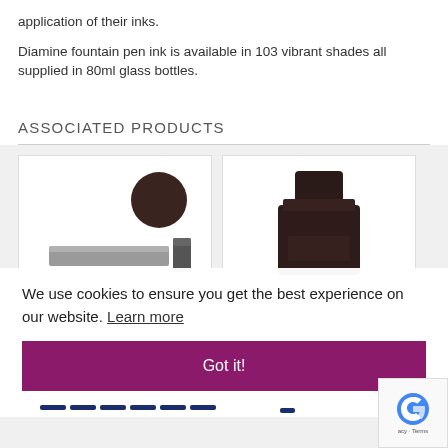application of their inks.
Diamine fountain pen ink is available in 103 vibrant shades all supplied in 80ml glass bottles.
ASSOCIATED PRODUCTS
[Figure (photo): Product image: top view of a dark brown/black ink pen cap or disc and a flat metallic pen body with a small rectangular cap]
[Figure (photo): Product image: a dark brown/black square-topped glass ink bottle]
We use cookies to ensure you get the best experience on our website. Learn more
Got it!